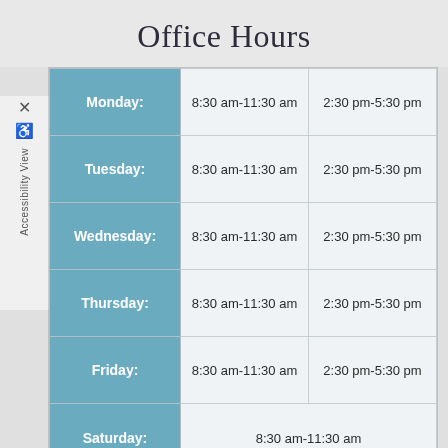Office Hours
| Day | Morning Hours | Afternoon Hours |
| --- | --- | --- |
| Monday: | 8:30 am-11:30 am | 2:30 pm-5:30 pm |
| Tuesday: | 8:30 am-11:30 am | 2:30 pm-5:30 pm |
| Wednesday: | 8:30 am-11:30 am | 2:30 pm-5:30 pm |
| Thursday: | 8:30 am-11:30 am | 2:30 pm-5:30 pm |
| Friday: | 8:30 am-11:30 am | 2:30 pm-5:30 pm |
| Saturday: | 8:30 am-11:30 am |  |
| Sunday: | Closed |  |